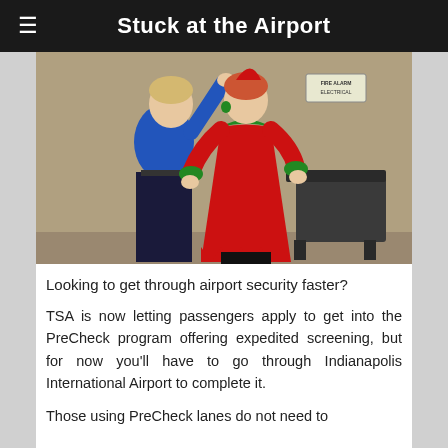Stuck at the Airport
[Figure (photo): A TSA officer in blue uniform patting down a passenger dressed in a red and green elf costume, in what appears to be an airport security screening room with a sign reading 'FIRE ALARM ELECTRICAL' on the beige wall and a dark chair in the background.]
Looking to get through airport security faster?
TSA is now letting passengers apply to get into the PreCheck program offering expedited screening, but for now you'll have to go through Indianapolis International Airport to complete it.
Those using PreCheck lanes do not need to